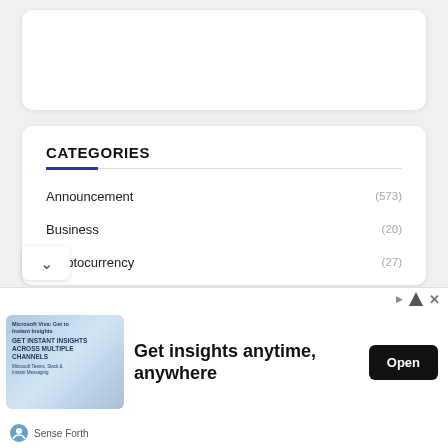CATEGORIES
Announcement (573)
Business (20)
Cryptocurrency (27)
Entertainment (500)
Event (115)
News (1110)
[Figure (screenshot): Advertisement banner: Get insights anytime, anywhere — Sense Forth, with Open button]